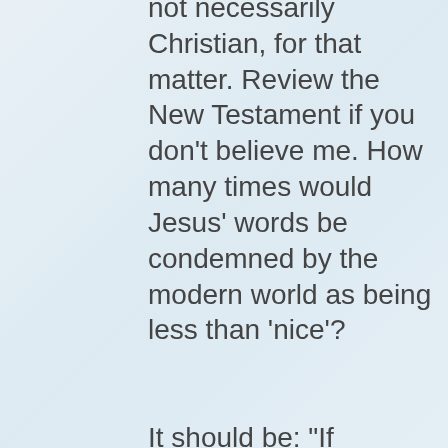not necessarily Christian, for that matter. Review the New Testament if you don't believe me. How many times would Jesus' words be condemned by the modern world as being less than 'nice'?
It should be: "If